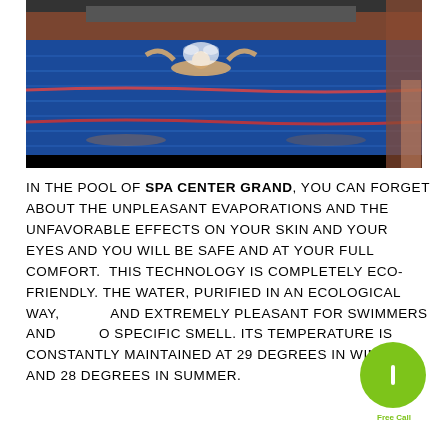[Figure (photo): Indoor swimming pool with a swimmer doing butterfly stroke, blue water with lane dividers, tiled pool, warm lighting in background]
IN THE POOL OF SPA CENTER GRAND, YOU CAN FORGET ABOUT THE UNPLEASANT EVAPORATIONS AND THE UNFAVORABLE EFFECTS ON YOUR SKIN AND YOUR EYES AND YOU WILL BE SAFE AND AT YOUR FULL COMFORT. THIS TECHNOLOGY IS COMPLETELY ECO-FRIENDLY. THE WATER, PURIFIED IN AN ECOLOGICAL WAY, IS AND EXTREMELY PLEASANT FOR SWIMMERS AND HAS NO SPECIFIC SMELL. ITS TEMPERATURE IS CONSTANTLY MAINTAINED AT 29 DEGREES IN WINTER AND 28 DEGREES IN SUMMER.